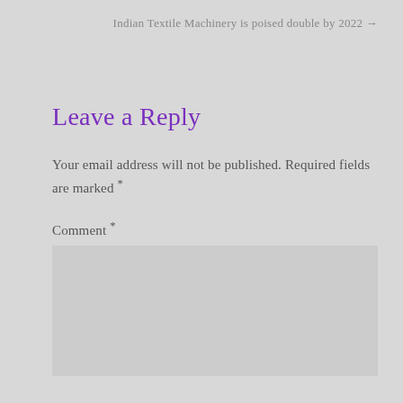Indian Textile Machinery is poised double by 2022 →
Leave a Reply
Your email address will not be published. Required fields are marked *
Comment *